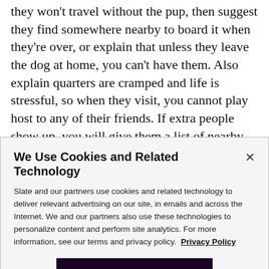they won't travel without the pup, then suggest they find somewhere nearby to board it when they're over, or explain that unless they leave the dog at home, you can't have them. Also explain quarters are cramped and life is stressful, so when they visit, you cannot play host to any of their friends. If extra people show up, you will give them a list of nearby motels, but you can't put them up. Then they either start behaving, or they stop coming—that sounds like a win-win.
We Use Cookies and Related Technology
Slate and our partners use cookies and related technology to deliver relevant advertising on our site, in emails and across the Internet. We and our partners also use these technologies to personalize content and perform site analytics. For more information, see our terms and privacy policy. Privacy Policy